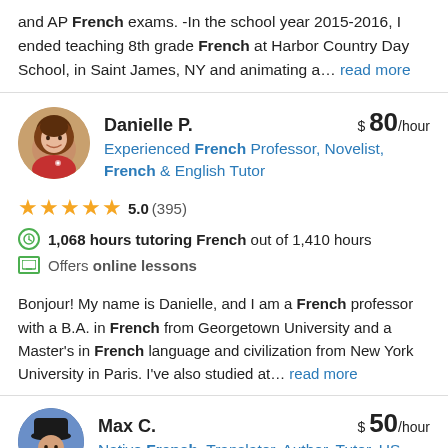and AP French exams. -In the school year 2015-2016, I ended teaching 8th grade French at Harbor Country Day School, in Saint James, NY and animating a... read more
Danielle P. $80/hour
Experienced French Professor, Novelist, French & English Tutor
5.0 (395)
1,068 hours tutoring French out of 1,410 hours
Offers online lessons
Bonjour! My name is Danielle, and I am a French professor with a B.A. in French from Georgetown University and a Master's in French language and civilization from New York University in Paris. I've also studied at... read more
Max C. $50/hour
Native French, Translator, Author, Tutor, US-